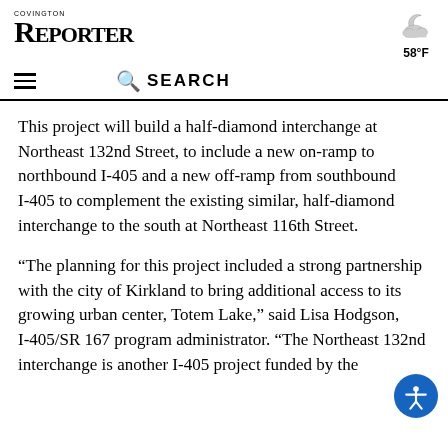COVINGTON REPORTER — 58°F
This project will build a half-diamond interchange at Northeast 132nd Street, to include a new on-ramp to northbound I-405 and a new off-ramp from southbound I-405 to complement the existing similar, half-diamond interchange to the south at Northeast 116th Street.
“The planning for this project included a strong partnership with the city of Kirkland to bring additional access to its growing urban center, Totem Lake,” said Lisa Hodgson, I-405/SR 167 program administrator. “The Northeast 132nd interchange is another I-405 project funded by the